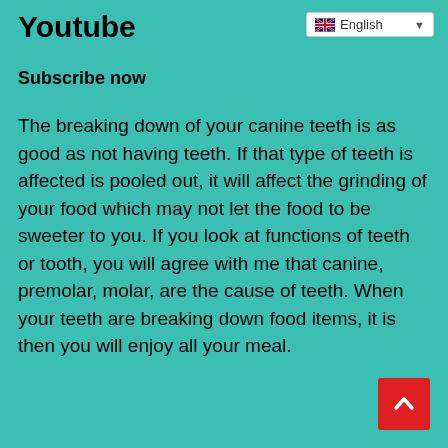Youtube
[Figure (other): English language selector dropdown with UK flag]
Subscribe now
The breaking down of your canine teeth is as good as not having teeth. If that type of teeth is affected is pooled out, it will affect the grinding of your food which may not let the food to be sweeter to you. If you look at functions of teeth or tooth, you will agree with me that canine, premolar, molar, are the cause of teeth. When your teeth are breaking down food items, it is then you will enjoy all your meal.
[Figure (other): Back to top button - red square with white upward chevron arrow]